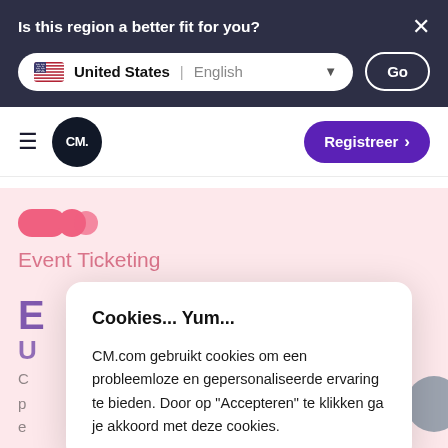Is this region a better fit for you?
United States | English
Go
[Figure (logo): CM.com hamburger menu and logo with Registreer button]
Event Ticketing
Cookies... Yum...
CM.com gebruikt cookies om een probleemloze en gepersonaliseerde ervaring te bieden. Door op "Accepteren" te klikken ga je akkoord met deze cookies.